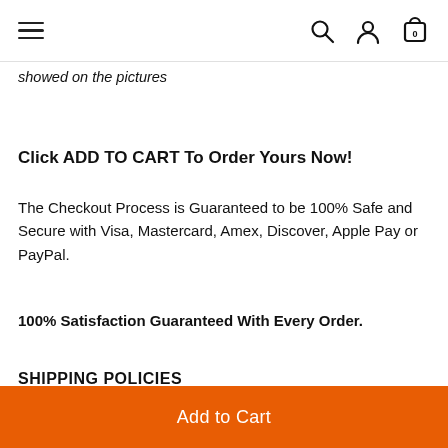Navigation bar with hamburger menu, search, account, and cart icons
showed on the pictures
Click ADD TO CART To Order Yours Now!
The Checkout Process is Guaranteed to be 100% Safe and Secure with Visa, Mastercard, Amex, Discover, Apple Pay or PayPal.
100% Satisfaction Guaranteed With Every Order.
SHIPPING POLICIES
Add to Cart